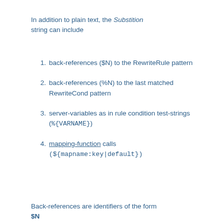In addition to plain text, the Substition string can include
back-references ($N) to the RewriteRule pattern
back-references (%N) to the last matched RewriteCond pattern
server-variables as in rule condition test-strings (%{VARNAME})
mapping-function calls (${mapname:key|default})
Back-references are identifiers of the form $N